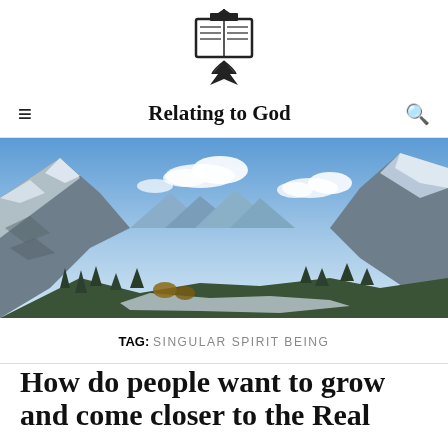[Figure (logo): Book with graduation cap and bird logo for Relating to God website]
Relating to God
[Figure (photo): Panoramic mountain landscape with snow-capped peaks, rocky cliffs, blue sky with clouds, and forested valley below]
TAG: SINGULAR SPIRIT BEING
How do people want to grow and come closer to the Real